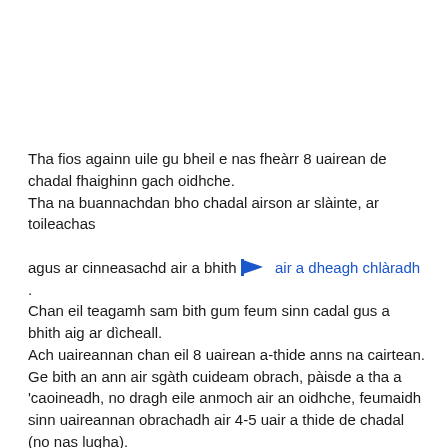Tha fios againn uile gu bheil e nas fheàrr 8 uairean de chadal fhaighinn gach oidhche.
Tha na buannachdan bho chadal airson ar slàinte, ar toileachas
agus ar cinneasachd air a bhith [flag icon] air a dheagh chlàradh .
Chan eil teagamh sam bith gum feum sinn cadal gus a bhith aig ar dìcheall.
Ach uaireannan chan eil 8 uairean a-thide anns na cairtean.
Ge bith an ann air sgàth cuideam obrach, pàisde a tha a 'caoineadh, no dragh eile anmoch air an oidhche, feumaidh sinn uaireannan obrachadh air 4-5 uair a thide de chadal (no nas lugha).
Nuair a tha sin mar sin, am bu chòir dhuinn a dhreuchd a leigeil dheth gu latha làn de shunnd agus toradh cuibhrichte? No a bheil ro-innleachdan ann gus cuir an-aghaidh buaidh beagan cadail?
Gu fortanach, tha cuid de dhòighean èifeachdach ann airson a bhith beò (agus eadhon a 'soirbheachadh) às deidh oidhche de